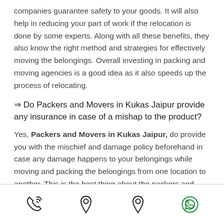companies guarantee safety to your goods. It will also help in reducing your part of work if the relocation is done by some experts. Along with all these benefits, they also know the right method and strategies for effectively moving the belongings. Overall investing in packing and moving agencies is a good idea as it also speeds up the process of relocating.
⇒ Do Packers and Movers in Kukas Jaipur provide any insurance in case of a mishap to the product?
Yes, Packers and Movers in Kukas Jaipur, do provide you with the mischief and damage policy beforehand in case any damage happens to your belongings while moving and packing the belongings from one location to another. This is the best thing about the packers and movers companies as they provide the insurance cover beforehand so that they can compensate in case
[Figure (infographic): Footer navigation bar with four icons: phone/call icon, location pin icon, location pin icon, WhatsApp icon]